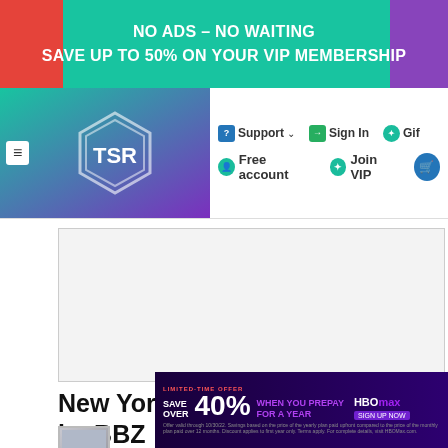[Figure (screenshot): Website header banner: NO ADS - NO WAITING / SAVE UP TO 50% ON YOUR VIP MEMBERSHIP]
NO ADS – NO WAITING
SAVE UP TO 50% ON YOUR VIP MEMBERSHIP
[Figure (logo): TSR (The Sims Resource) logo with hexagon icon, navigation bar with Support, Sign In, Gift, Free account, Join VIP]
Support
Sign In
Gif
Free account
Join VIP
[Figure (other): Grey advertisement placeholder area]
New York Glamour Curtain Right by BBZ
CREATED BY seimar8 🇬🇧   Select Artist
We use cookies to improve your experience, measure your visits, and show you personalized advertising. You agree that by closing this notice, interacting with any link or button outside this notice, or by continuing to browse, you consent to the use of cookies.
I accept
[Figure (other): HBO Max advertisement: LIMITED-TIME OFFER SAVE OVER 40% WHEN YOU PREPAY FOR A YEAR. HBOMax. Offer valid through 10/30/22.]